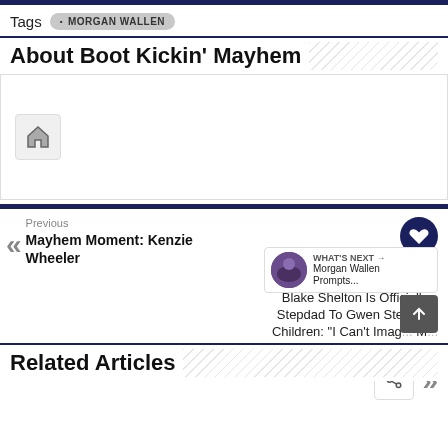Tags • MORGAN WALLEN
About Boot Kickin' Mayhem
[Figure (other): Home icon inside a light gray rounded box, representing the Boot Kickin' Mayhem website logo/placeholder]
Previous
Mayhem Moment: Kenzie Wheeler
Next
Blake Shelton Is Officially Stepdad To Gwen Stefani's Children: "I Can't Imagine My Life Without..."
WHAT'S NEXT → Morgan Wallen Prompts...
Related Articles